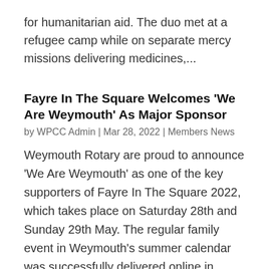for humanitarian aid. The duo met at a refugee camp while on separate mercy missions delivering medicines,...
Fayre In The Square Welcomes ‘We Are Weymouth’ As Major Sponsor
by WPCC Admin | Mar 28, 2022 | Members News
Weymouth Rotary are proud to announce ‘We Are Weymouth’ as one of the key supporters of Fayre In The Square 2022, which takes place on Saturday 28th and Sunday 29th May. The regular family event in Weymouth’s summer calendar was successfully delivered online in 2020...
Dorset Chamber bids to help Ukraine